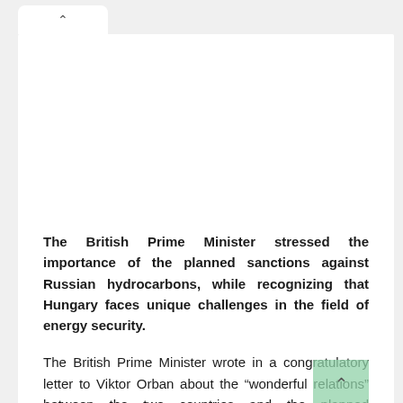The British Prime Minister stressed the importance of the planned sanctions against Russian hydrocarbons, while recognizing that Hungary faces unique challenges in the field of energy security.
The British Prime Minister wrote in a congratulatory letter to Viktor Orban about the “wonderful relations” between the two countries and the planned cooperation in the field of energy security.